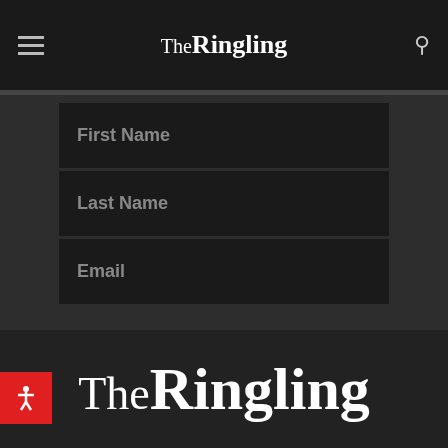TheRingling
Stay Connected with our news, updates, and events.
First Name
Last Name
Email
Performance, Events, Exhibitions (checked)
Family News and Events (unchecked)
Educator News and Events (unchecked)
Subscribe
[Figure (logo): TheRingling logo in large serif font at bottom of page]